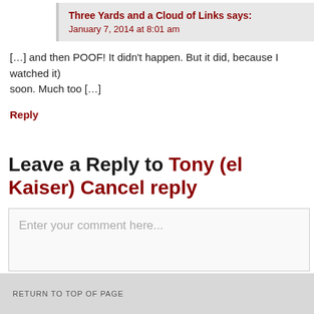Three Yards and a Cloud of Links says: January 7, 2014 at 8:01 am
[…] and then POOF! It didn't happen. But it did, because I watched it) soon. Much too […]
Reply
Leave a Reply to Tony (el Kaiser) Cancel reply
Enter your comment here...
This site uses Akismet to reduce spam. Learn how your comment data
RETURN TO TOP OF PAGE